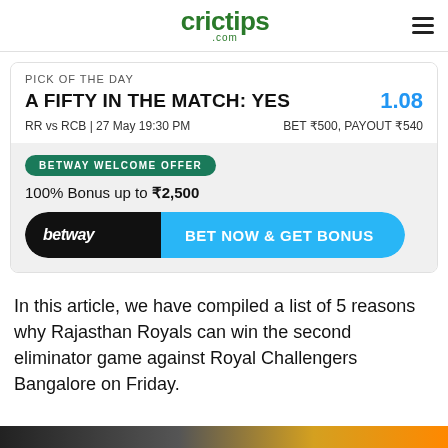crictips.com
PICK OF THE DAY
A FIFTY IN THE MATCH: YES
1.08
RR vs RCB | 27 May 19:30 PM
BET ₹500, PAYOUT ₹540
BETWAY WELCOME OFFER
100% Bonus up to ₹2,500
betway   BET NOW & GET BONUS
In this article, we have compiled a list of 5 reasons why Rajasthan Royals can win the second eliminator game against Royal Challengers Bangalore on Friday.